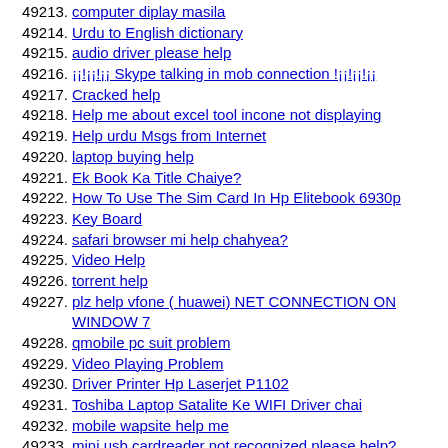49213. computer diplay masila
49214. Urdu to English dictionary
49215. audio driver please help
49216. ¡¡!¡¡!¡¡ Skype talking in mob connection !¡¡!¡¡!¡¡
49217. Cracked help
49218. Help me about excel tool incone not displaying
49219. Help urdu Msgs from Internet
49220. laptop buying help
49221. Ek Book Ka Title Chaiye?
49222. How To Use The Sim Card In Hp Elitebook 6930p
49223. Key Board
49224. safari browser mi help chahyea?
49225. Video Help
49226. torrent help
49227. plz help vfone ( huawei) NET CONNECTION ON WINDOW 7
49228. qmobile pc suit problem
49229. Video Playing Problem
49230. Driver Printer Hp Laserjet P1102
49231. Toshiba Laptop Satalite Ke WIFI Driver chai
49232. mobile wapsite help me
49233. mini usb cardreader not recognized please help?
49234. Help kren
49235. Mmc pasword problem.
49236. Need Help Urgent
49237. Siyaasat K Firoon
49238. Need a software
49239. need nokia ovi souit
49240. how to ryt square type in microsft word?
49241. Dell Optiplex 755 for windows 7